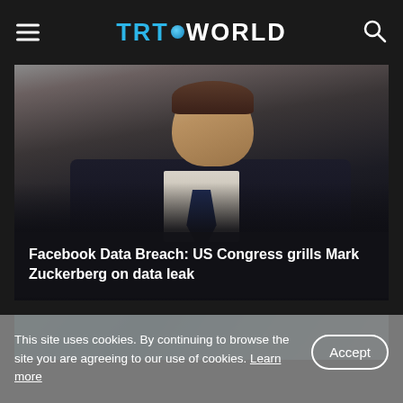TRT WORLD
[Figure (photo): Close-up photo of a man in a dark suit with a blue tie, profile/three-quarter view, dark background. Mark Zuckerberg at US Congress hearing.]
Facebook Data Breach: US Congress grills Mark Zuckerberg on data leak
[Figure (photo): Partial view of a second article thumbnail with blue/teal blurred background.]
This site uses cookies. By continuing to browse the site you are agreeing to our use of cookies. Learn more